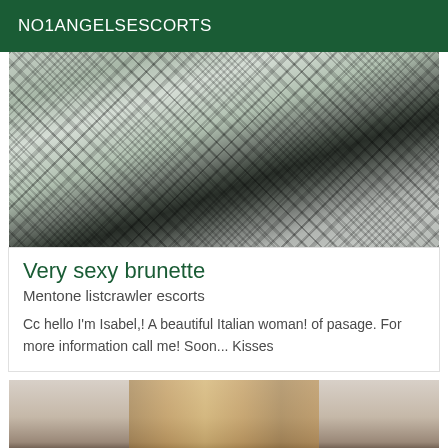NO1ANGELSESCORTS
[Figure (photo): Photo of person lying on bed wearing fishnet stockings, with leaf-patterned bedding]
Very sexy brunette
Mentone listcrawler escorts
Cc hello I'm Isabel,! A beautiful Italian woman! of pasage. For more information call me! Soon... Kisses
[Figure (photo): Photo of person with dark hair from behind, with striped pillow and beige wall in background]